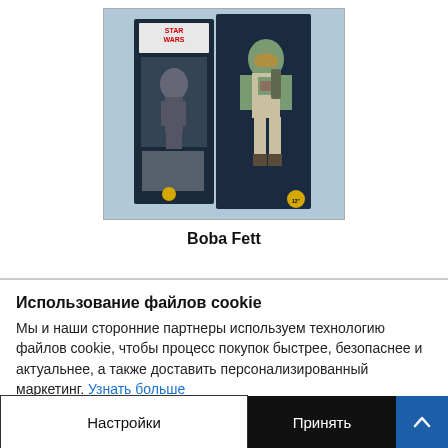[Figure (photo): Star Wars Boba Fett action figure in opened collector packaging on blue background]
Boba Fett
Использование файлов cookie
Мы и наши сторонние партнеры используем технологию файлов cookie, чтобы процесс покупок быстрее, безопаснее и актуальнее, а также доставить персонализированный маркетинг. Узнать больше